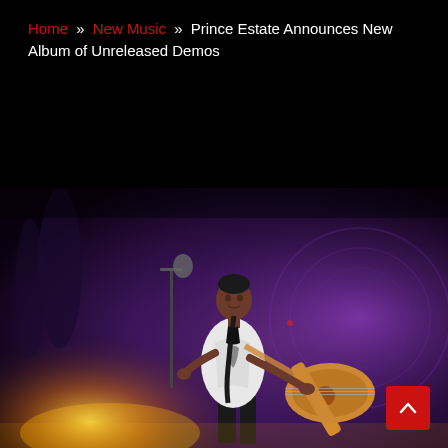Home » New Music » Prince Estate Announces New Album of Unreleased Demos
[Figure (photo): Prince performing on stage in a white patterned jacket, playing a yellow guitar, with purple stage lighting in the background]